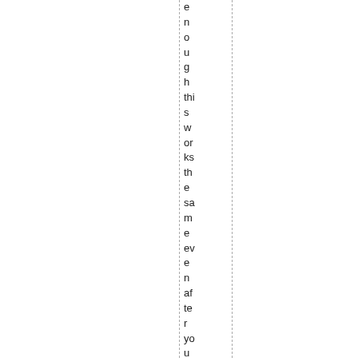enough this works the same even after you have cut d